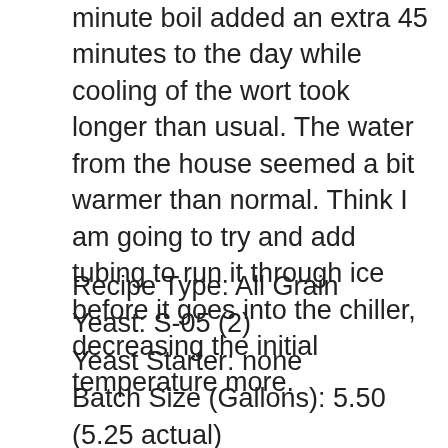minute boil added an extra 45 minutes to the day while cooling of the wort took longer than usual. The water from the house seemed a bit warmer than normal. Think I am going to try and add tubing to run it through ice before it goes into the chiller, decreasing the initial temperature more.
Recipe Type: All Grain
Yeast: S-05 (2)
Yeast Starter: none
Batch Size (Gallons): 5.50 (5.25 actual)
Original Gravity: 1.093 (1.098 actual)
Final Gravity: ?
IBU: 78.0
Color: ? SRM
Boiling Time (Minutes): 90
Primary Fermentation: 30 days @70*F
Secondary Fermentation: 1 day @ 30*F